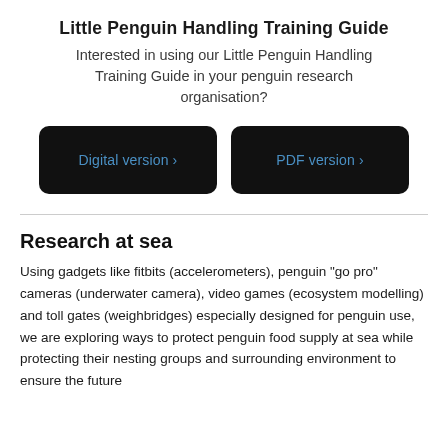Little Penguin Handling Training Guide
Interested in using our Little Penguin Handling Training Guide in your penguin research organisation?
[Figure (other): Two black rounded-rectangle buttons side by side: 'Digital version ›' and 'PDF version ›' in blue text on black backgrounds]
Research at sea
Using gadgets like fitbits (accelerometers), penguin "go pro" cameras (underwater camera), video games (ecosystem modelling) and toll gates (weighbridges) especially designed for penguin use, we are exploring ways to protect penguin food supply at sea while protecting their nesting groups and surrounding environment to ensure the future